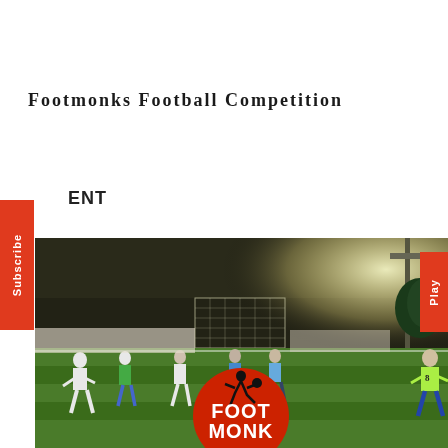Footmonks Football Competition
ENT
[Figure (photo): Night football match on a green turf field with floodlights. Players in white and colored jerseys play near a goal. A large red Foot Monk logo with a kicking player silhouette is overlaid at the bottom center. Subscribe tab visible on left edge, Play tab on right edge.]